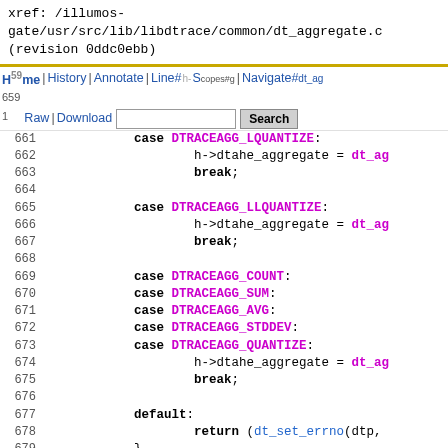xref: /illumos-gate/usr/src/lib/libdtrace/common/dt_aggregate.c (revision 0ddc0ebb)
Home | History | Annotate | Line# h- Scopes#g | Navigate#dt_ag 659 | Raw | Download [Search box] Search 1 current directory 660
661   case DTRACEAGG_LQUANTIZE:
662         h->dtahe_aggregate = dt_ag
663         break;
664
665   case DTRACEAGG_LLQUANTIZE:
666         h->dtahe_aggregate = dt_ag
667         break;
668
669   case DTRACEAGG_COUNT:
670   case DTRACEAGG_SUM:
671   case DTRACEAGG_AVG:
672   case DTRACEAGG_STDDEV:
673   case DTRACEAGG_QUANTIZE:
674         h->dtahe_aggregate = dt_ag
675         break;
676
677   default:
678         return (dt_set_errno(dtp,
679   }
680
681   if (hash->dtah_hash[ndx] != NULL)
682         hash->dtah_hash[ndx]->dtah